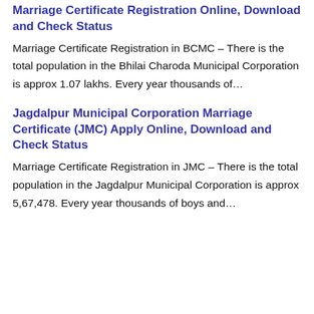Marriage Certificate Registration Online, Download and Check Status
Marriage Certificate Registration in BCMC – There is the total population in the Bhilai Charoda Municipal Corporation is approx 1.07 lakhs. Every year thousands of…
Jagdalpur Municipal Corporation Marriage Certificate (JMC) Apply Online, Download and Check Status
Marriage Certificate Registration in JMC – There is the total population in the Jagdalpur Municipal Corporation is approx 5,67,478. Every year thousands of boys and…